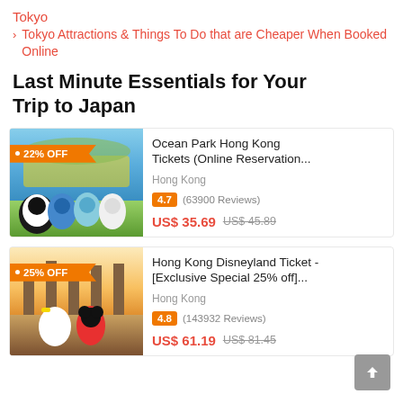Tokyo
> Tokyo Attractions & Things To Do that are Cheaper When Booked Online
Last Minute Essentials for Your Trip to Japan
[Figure (photo): Ocean Park Hong Kong mascots with 22% OFF badge]
Ocean Park Hong Kong Tickets (Online Reservation...
Hong Kong
4.7 (63900 Reviews)
US$ 35.69  US$ 45.89
[Figure (photo): Hong Kong Disneyland Mickey and Donald with 25% OFF badge]
Hong Kong Disneyland Ticket - [Exclusive Special 25% off]...
Hong Kong
4.8 (143932 Reviews)
US$ 61.19  US$ 81.45